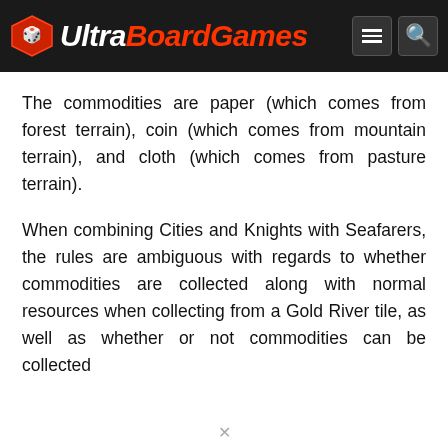UltraBoardGames
The commodities are paper (which comes from forest terrain), coin (which comes from mountain terrain), and cloth (which comes from pasture terrain).
When combining Cities and Knights with Seafarers, the rules are ambiguous with regards to whether commodities are collected along with normal resources when collecting from a Gold River tile, as well as whether or not commodities can be collected